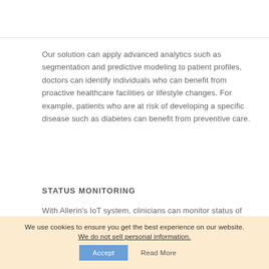Our solution can apply advanced analytics such as segmentation and predictive modeling to patient profiles, doctors can identify individuals who can benefit from proactive healthcare facilities or lifestyle changes. For example, patients who are at risk of developing a specific disease such as diabetes can benefit from preventive care.
STATUS MONITORING
With Allerin's IoT system, clinicians can monitor status of patients in real time. Doctors can also get alerts on future patient visits along with full case data.
We use cookies to ensure you get the best experience on our website.
We do not sell personal information.